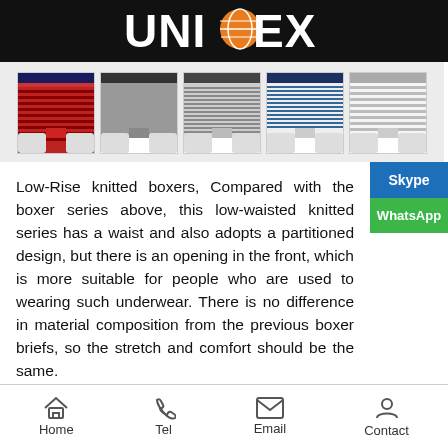UNITEX
[Figure (photo): Five product thumbnail images of Low-Rise knitted boxer shorts in various colors and stripe patterns: red/navy stripes, solid gray, gray stripes, navy/white stripes, and light gray stripes.]
Low-Rise knitted boxers, Compared with the boxer series above, this low-waisted knitted series has a waist and also adopts a partitioned design, but there is an opening in the front, which is more suitable for people who are used to wearing such underwear. There is no difference in material composition from the previous boxer briefs, so the stretch and comfort should be the same.
Home  Tel  Email  Contact